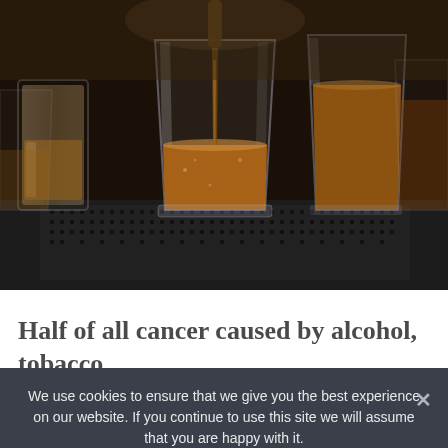[Figure (photo): Several shot glasses filled with amber-colored alcohol on a bar mat, with liquid being poured into one glass from a bottle above. Dark background with blurred glasses in foreground and background.]
Half of all cancer caused by alcohol, tobacco
We use cookies to ensure that we give you the best experience on our website. If you continue to use this site we will assume that you are happy with it.